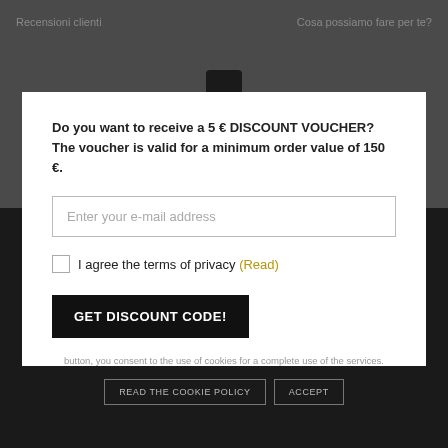Recensioni clienti    Cosa possiamo fare per te?
Do you want to receive a 5 € DISCOUNT VOUCHER?
The voucher is valid for a minimum order value of 150 €.
Enter your e-mail address
I agree the terms of privacy (Read)
GET DISCOUNT CODE!
button, you consent to the use of cookies for a complete use of the services.
READ THE COOKIE POLICY
ACCEPT